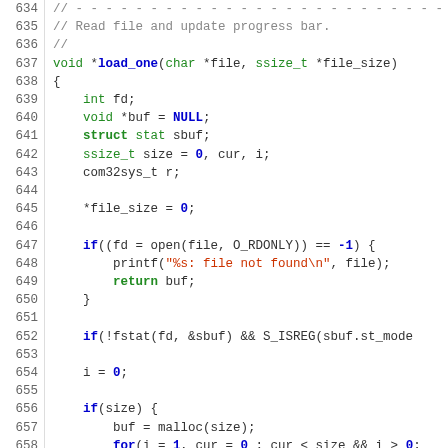Source code listing lines 634-660, C code for load_one function
634: // - - - - - - - - - - - - - - - - - - - -
635: // Read file and update progress bar.
636: //
637: void *load_one(char *file, ssize_t *file_size)
638: {
639:     int fd;
640:     void *buf = NULL;
641:     struct stat sbuf;
642:     ssize_t size = 0, cur, i;
643:     com32sys_t r;
644:
645:     *file_size = 0;
646:
647:     if((fd = open(file, O_RDONLY)) == -1) {
648:         printf("%s: file not found\n", file);
649:         return buf;
650:     }
651:
652:     if(!fstat(fd, &sbuf) && S_ISREG(sbuf.st_mode
653:
654:     i = 0;
655:
656:     if(size) {
657:         buf = malloc(size);
658:         for(i = 1, cur = 0 ; cur < size && i > 0;
659:             i = save_read(fd, buf + cur, CHUNK_SIZE)
660:             r.eax.l = i >> gfx_config.sector_shift;